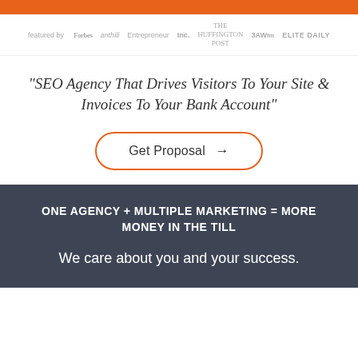[Figure (logo): Orange header bar at top of page]
[Figure (logo): Row of media logos: featured by Forbes, anthill, Entrepreneur, Inc., The Huffington Post, 3AW, ELITE DAILY]
"SEO Agency That Drives Visitors To Your Site & Invoices To Your Bank Account"
[Figure (other): Get Proposal button with right arrow, orange rounded border]
ONE AGENCY + MULTIPLE MARKETING = MORE MONEY IN THE TILL
We care about you and your success.